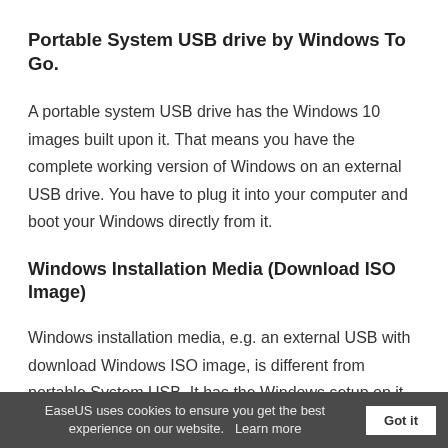Portable System USB drive by Windows To Go.
A portable system USB drive has the Windows 10 images built upon it. That means you have the complete working version of Windows on an external USB drive. You have to plug it into your computer and boot your Windows directly from it.
Windows Installation Media (Download ISO Image)
Windows installation media, e.g. an external USB with download Windows ISO image, is different from portable System USB. It has the Windows setup on it. You use this installation media to install a Windows OS on your com…
EaseUS uses cookies to ensure you get the best experience on our website.   Learn more   Got it